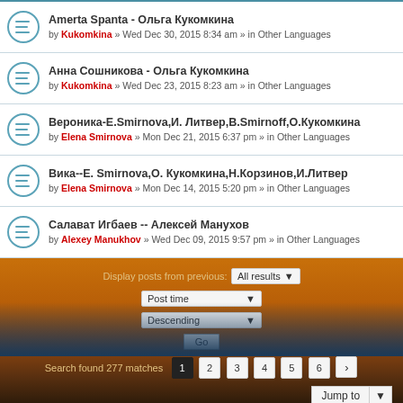Amerta Spanta - Ольга Кукомкина by Kukomkina » Wed Dec 30, 2015 8:34 am » in Other Languages
Анна Сошникова - Ольга Кукомкина by Kukomkina » Wed Dec 23, 2015 8:23 am » in Other Languages
Вероника-E.Smirnova,И. Литвер,В.Smirnoff,О.Кукомкина by Elena Smirnova » Mon Dec 21, 2015 6:37 pm » in Other Languages
Вика--Е. Smirnova,О. Кукомкина,Н.Корзинов,И.Литвер by Elena Smirnova » Mon Dec 14, 2015 5:20 pm » in Other Languages
Салават Игбаев -- Алексей Манухов by Alexey Manukhov » Wed Dec 09, 2015 9:57 pm » in Other Languages
Display posts from previous: All results
Post time
Descending
Go
Search found 277 matches 1 2 3 4 5 6 >
Jump to
Board index   Delete cookies • All times are UTC+01:00
Powered by phpBB® Forum Software © phpBB Limited